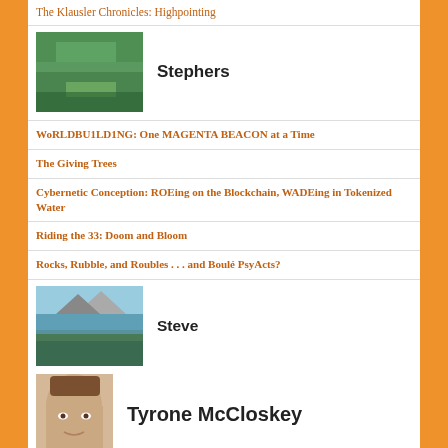The Klausler Chronicles: Highpointing
[Figure (photo): Aerial view of green forested terrain]
Stephers
WoRLDBU1LD1NG: One MAGENTA BEACON at a Time
The Giving Trees
Cybernetic Conception: ROEing on the Blockchain, WADEing in Tokenized Water
Riding the 33: Doom and Bloom
Rocks, Rubble, and Roubles . . . and Boulé PsyActs?
[Figure (photo): Mountain lake landscape with rocky peaks]
Steve
[Figure (photo): Illustrated face of a person]
Tyrone McCloskey